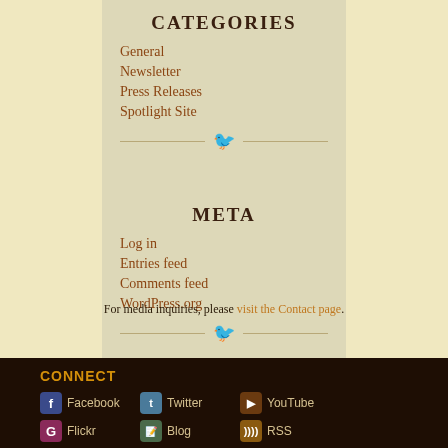CATEGORIES
General
Newsletter
Press Releases
Spotlight Site
META
Log in
Entries feed
Comments feed
WordPress.org
For media inquiries, please visit the Contact page.
CONNECT
Facebook
Twitter
YouTube
Flickr
Blog
RSS
Pinterest
Causes